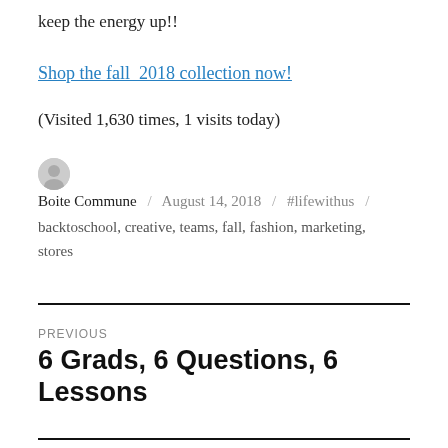keep the energy up!!
Shop the fall  2018 collection now!
(Visited 1,630 times, 1 visits today)
Boite Commune / August 14, 2018 / #lifewithus / backtoschool, creative, teams, fall, fashion, marketing, stores
PREVIOUS
6 Grads, 6 Questions, 6 Lessons